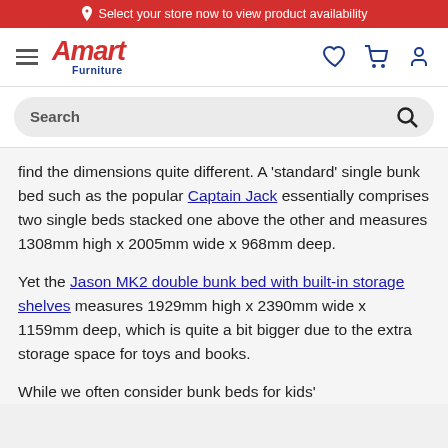Select your store now to view product availability
[Figure (screenshot): Amart Furniture website navigation bar with hamburger menu, Amart Furniture logo, heart icon, cart icon, and user icon]
[Figure (screenshot): Search bar with placeholder text 'Search' and magnifying glass icon]
find the dimensions quite different. A 'standard' single bunk bed such as the popular Captain Jack essentially comprises two single beds stacked one above the other and measures 1308mm high x 2005mm wide x 968mm deep.
Yet the Jason MK2 double bunk bed with built-in storage shelves measures 1929mm high x 2390mm wide x 1159mm deep, which is quite a bit bigger due to the extra storage space for toys and books.
While we often consider bunk beds for kids'